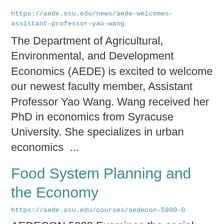https://aede.osu.edu/news/aede-welcomes-assistant-professor-yao-wang
The Department of Agricultural, Environmental, and Development Economics (AEDE) is excited to welcome our newest faculty member, Assistant Professor Yao Wang. Wang received her PhD in economics from Syracuse University. She specializes in urban economics  ...
Food System Planning and the Economy
https://aede.osu.edu/courses/aedecon-5900-0
AEDECON 5900 Examines the social,